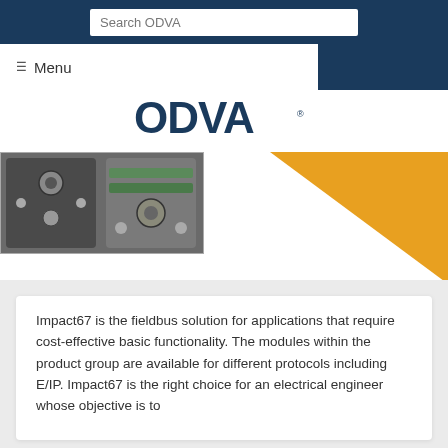Search ODVA
Menu
[Figure (logo): ODVA logo in dark navy blue bold text]
[Figure (photo): Industrial fieldbus module product photo showing two black modules with connectors]
[Figure (illustration): Orange diagonal triangle decorative shape on right side]
Impact67 is the fieldbus solution for applications that require cost-effective basic functionality. The modules within the product group are available for different protocols including E/IP. Impact67 is the right choice for an electrical engineer whose objective is to